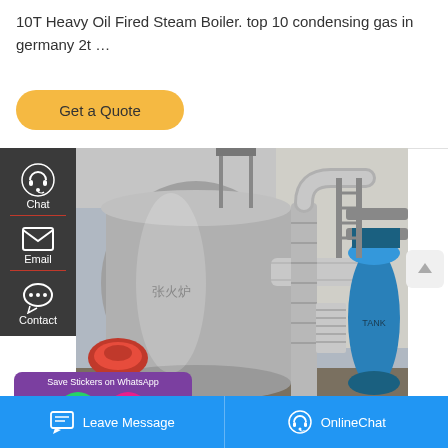10T Heavy Oil Fired Steam Boiler. top 10 condensing gas in germany 2t …
Get a Quote
[Figure (photo): Industrial steam boiler installation showing large cylindrical boiler with insulated pipes, red burner, and blue water treatment tanks in a factory setting]
Save Stickers on WhatsApp
Leave Message
OnlineChat